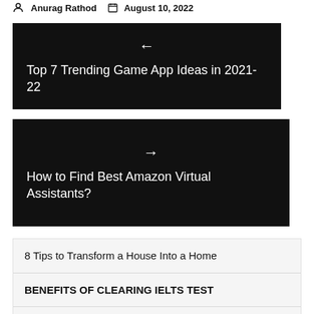Anurag Rathod   August 10, 2022
← Top 7 Trending Game App Ideas in 2021-22
→ How to Find Best Amazon Virtual Assistants?
8 Tips to Transform a House Into a Home
BENEFITS OF CLEARING IELTS TEST
3 Metrics That Tell Your Website's Performance
A Complete Guide to the HashiCorp Terraform